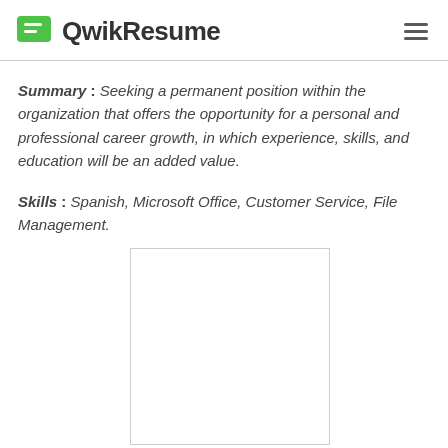QwikResume
Summary : Seeking a permanent position within the organization that offers the opportunity for a personal and professional career growth, in which experience, skills, and education will be an added value.
Skills : Spanish, Microsoft Office, Customer Service, File Management.
[Figure (other): Empty white rectangle with light gray border, representing a resume preview placeholder.]